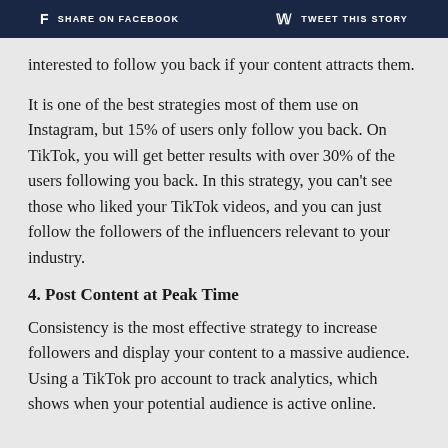f SHARE ON FACEBOOK   twitter TWEET THIS STORY
interested to follow you back if your content attracts them.
It is one of the best strategies most of them use on Instagram, but 15% of users only follow you back. On TikTok, you will get better results with over 30% of the users following you back. In this strategy, you can't see those who liked your TikTok videos, and you can just follow the followers of the influencers relevant to your industry.
4. Post Content at Peak Time
Consistency is the most effective strategy to increase followers and display your content to a massive audience. Using a TikTok pro account to track analytics, which shows when your potential audience is active online.